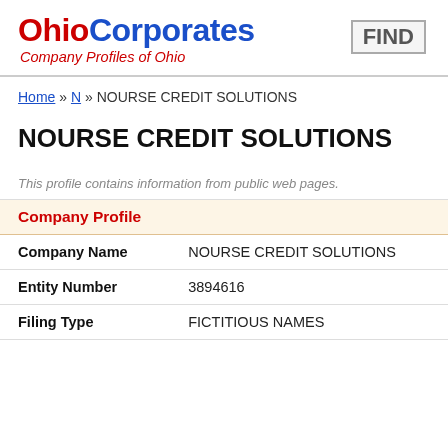OhioCorporates Company Profiles of Ohio | FIND
Home » N » NOURSE CREDIT SOLUTIONS
NOURSE CREDIT SOLUTIONS
This profile contains information from public web pages.
Company Profile
| Field | Value |
| --- | --- |
| Company Name | NOURSE CREDIT SOLUTIONS |
| Entity Number | 3894616 |
| Filing Type | FICTITIOUS NAMES |